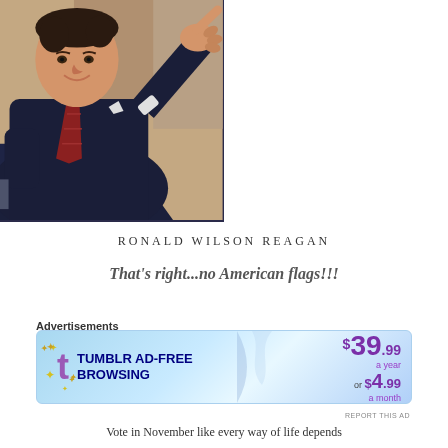[Figure (photo): Black and white/color photo of Ronald Reagan at a podium with microphones, pointing finger toward viewer, wearing dark suit and tie. LIFE magazine watermark in lower left corner.]
RONALD WILSON REAGAN
That's right...no American flags!!!
Advertisements
[Figure (other): Tumblr Ad-Free Browsing advertisement banner. Blue gradient background with Tumblr 't' logo in purple. Text: TUMBLR AD-FREE BROWSING. Price: $39.99 a year or $4.99 a month.]
Vote in November like every way of life depends